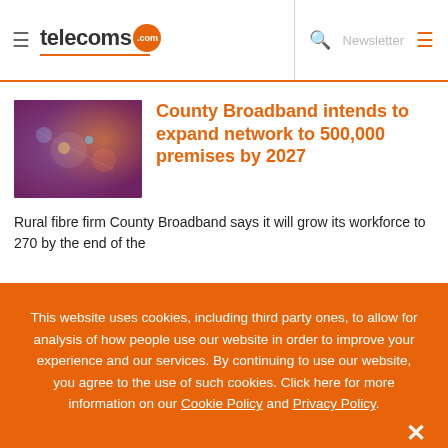telecoms.com | Newsletter
[Figure (photo): Colorful network/technology image with lights and digital elements]
County Broadband intends to expand network to 500,000 premises by 2027
Rural fibre firm County Broadband says it will grow its workforce to 270 by the end of the
This website uses cookies, including third party ones, to allow for analysis of how people use our website in order to improve your experience and our services. By continuing to use our website, you agree to the use of such cookies. Click here for more information on our Cookie Policy and Privacy Policy.